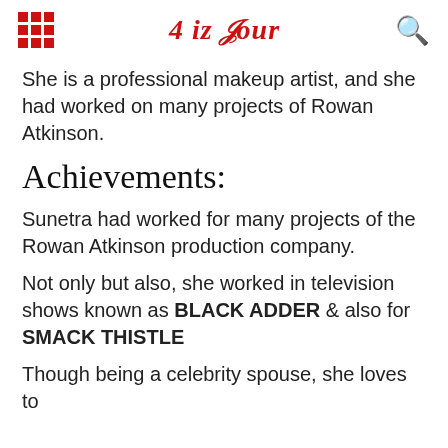4 iz Four
She is a professional makeup artist, and she had worked on many projects of Rowan Atkinson.
Achievements:
Sunetra had worked for many projects of the Rowan Atkinson production company.
Not only but also, she worked in television shows known as BLACK ADDER & also for SMACK THISTLE
Though being a celebrity spouse, she loves to